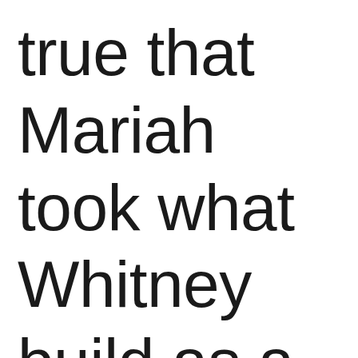true that Mariah took what Whitney build as a basis in my